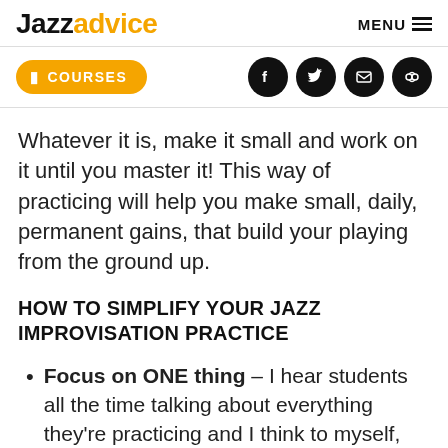Jazzadvice   MENU
COURSES (nav bar with social icons)
Whatever it is, make it small and work on it until you master it! This way of practicing will help you make small, daily, permanent gains, that build your playing from the ground up.
HOW TO SIMPLIFY YOUR JAZZ IMPROVISATION PRACTICE
Focus on ONE thing – I hear students all the time talking about everything they're practicing and I think to myself,